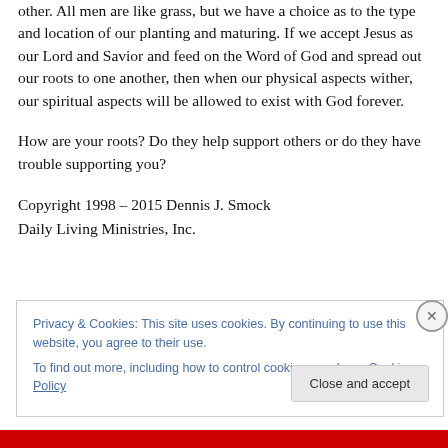other. All men are like grass, but we have a choice as to the type and location of our planting and maturing. If we accept Jesus as our Lord and Savior and feed on the Word of God and spread out our roots to one another, then when our physical aspects wither, our spiritual aspects will be allowed to exist with God forever.
How are your roots? Do they help support others or do they have trouble supporting you?
Copyright 1998 – 2015 Dennis J. Smock
Daily Living Ministries, Inc.
Privacy & Cookies: This site uses cookies. By continuing to use this website, you agree to their use.
To find out more, including how to control cookies, see here: Cookie Policy